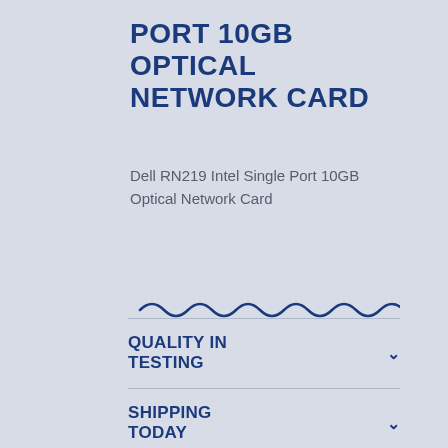PORT 10GB OPTICAL NETWORK CARD
Dell RN219 Intel Single Port 10GB Optical Network Card
[Figure (illustration): Decorative blue wavy line divider]
QUALITY IN TESTING
SHIPPING TODAY
WARRANTY